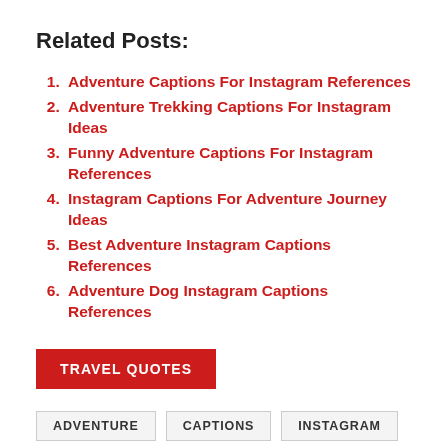Related Posts:
Adventure Captions For Instagram References
Adventure Trekking Captions For Instagram Ideas
Funny Adventure Captions For Instagram References
Instagram Captions For Adventure Journey Ideas
Best Adventure Instagram Captions References
Adventure Dog Instagram Captions References
TRAVEL QUOTES
ADVENTURE   CAPTIONS   INSTAGRAM